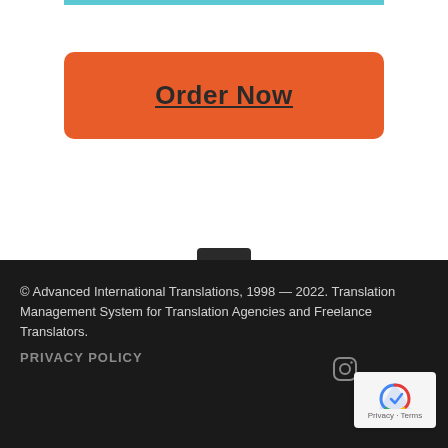[Figure (other): Cyan/teal horizontal bar at top of page]
Order Now
[Figure (other): Dark square back-to-top button with double chevron up arrow]
© Advanced International Translations, 1998 — 2022. Translation Management System for Translation Agencies and Freelance Translators.
PRIVACY POLICY